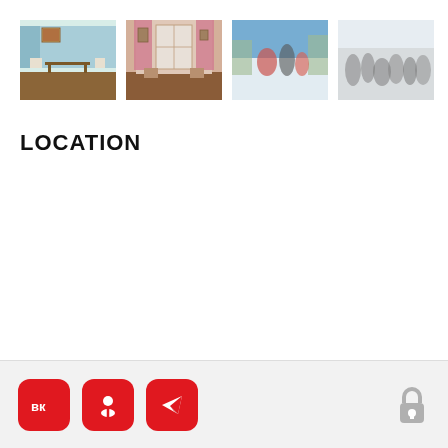[Figure (photo): Four thumbnail photos: blue-walled interior room with furniture, pink-curtained room with chairs, outdoor winter scene with people in snow, blurry outdoor crowd scene in winter]
LOCATION
Social share buttons (VK, Odnoklassniki, Telegram) and lock icon